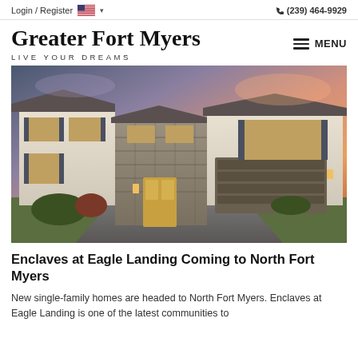Login / Register  🇺🇸 ∨   📞 (239) 464-9929
Greater Fort Myers
LIVE YOUR DREAMS
[Figure (photo): Exterior photo of a two-story single-family home with stone facade entrance, dark wood garage door, and dramatic sunset sky in pink and purple tones.]
Enclaves at Eagle Landing Coming to North Fort Myers
New single-family homes are headed to North Fort Myers. Enclaves at Eagle Landing is one of the latest communities to